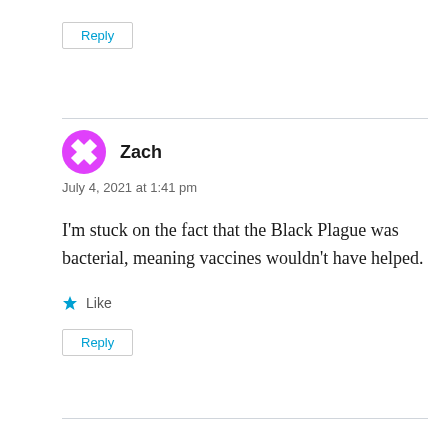Reply
Zach
July 4, 2021 at 1:41 pm
I'm stuck on the fact that the Black Plague was bacterial, meaning vaccines wouldn't have helped.
Like
Reply